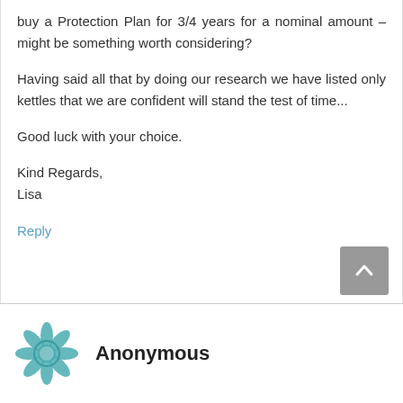buy a Protection Plan for 3/4 years for a nominal amount – might be something worth considering?
Having said all that by doing our research we have listed only kettles that we are confident will stand the test of time...
Good luck with your choice.
Kind Regards,
Lisa
Reply
Anonymous